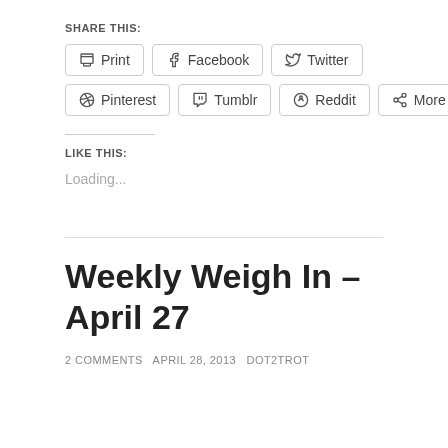SHARE THIS:
[Figure (infographic): Social share buttons row 1: Print, Facebook, Twitter]
[Figure (infographic): Social share buttons row 2: Pinterest, Tumblr, Reddit, More]
LIKE THIS:
Loading...
Weekly Weigh In – April 27
2 COMMENTS  APRIL 28, 2013  DOT2TROT